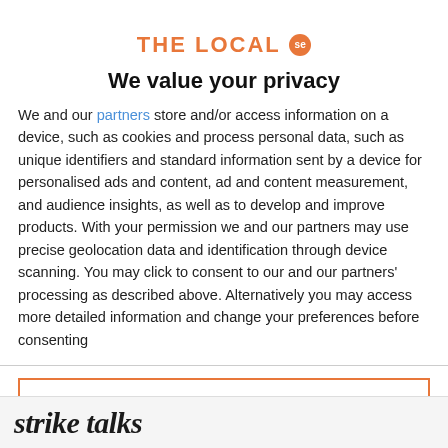[Figure (logo): The Local SE logo - orange text with orange circular badge containing 'se']
We value your privacy
We and our partners store and/or access information on a device, such as cookies and process personal data, such as unique identifiers and standard information sent by a device for personalised ads and content, ad and content measurement, and audience insights, as well as to develop and improve products. With your permission we and our partners may use precise geolocation data and identification through device scanning. You may click to consent to our and our partners' processing as described above. Alternatively you may access more detailed information and change your preferences before consenting
ACCEPT
MORE OPTIONS
strike talks